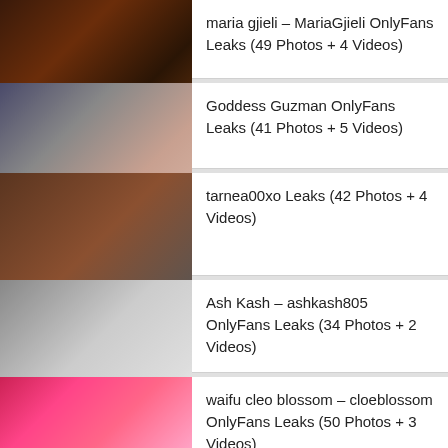maria gjieli – MariaGjieli OnlyFans Leaks (49 Photos + 4 Videos)
Goddess Guzman OnlyFans Leaks (41 Photos + 5 Videos)
tarnea00xo Leaks (42 Photos + 4 Videos)
Ash Kash – ashkash805 OnlyFans Leaks (34 Photos + 2 Videos)
waifu cleo blossom – cloeblossom OnlyFans Leaks (50 Photos + 3 Videos)